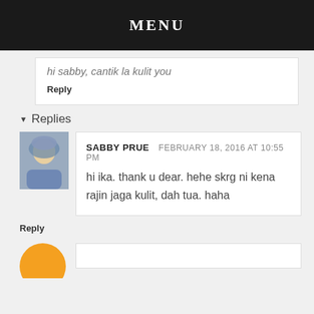MENU
hi sabby, cantik la kulit you
Reply
Replies
SABBY PRUE   FEBRUARY 18, 2016 AT 10:55 PM
hi ika. thank u dear. hehe skrg ni kena rajin jaga kulit, dah tua. haha
Reply